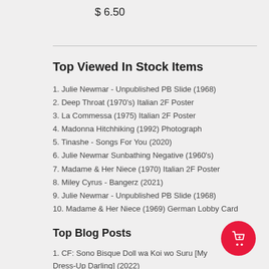$ 6.50
Top Viewed In Stock Items
1. Julie Newmar - Unpublished PB Slide (1968)
2. Deep Throat (1970's) Italian 2F Poster
3. La Commessa (1975) Italian 2F Poster
4. Madonna Hitchhiking (1992) Photograph
5. Tinashe - Songs For You (2020)
6. Julie Newmar Sunbathing Negative (1960's)
7. Madame & Her Niece (1970) Italian 2F Poster
8. Miley Cyrus - Bangerz (2021)
9. Julie Newmar - Unpublished PB Slide (1968)
10. Madame & Her Niece (1969) German Lobby Card
Top Blog Posts
1. CF: Sono Bisque Doll wa Koi wo Suru [My Dress-Up Darling] (2022)